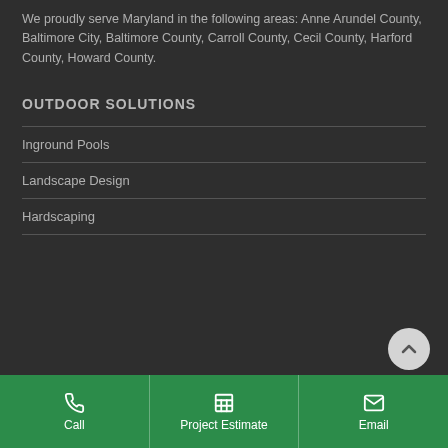We proudly serve Maryland in the following areas: Anne Arundel County, Baltimore City, Baltimore County, Carroll County, Cecil County, Harford County, Howard County.
OUTDOOR SOLUTIONS
Inground Pools
Landscape Design
Hardscaping
Call
Project Estimate
Email